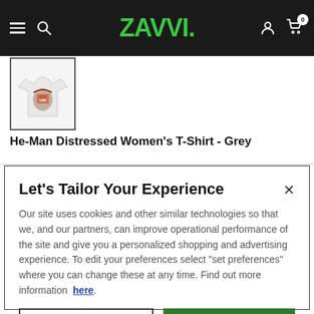Zavvi navigation bar with hamburger menu, search, logo, account and cart icons
[Figure (photo): Thumbnail of He-Man Distressed Women's T-Shirt in grey, shown in a bordered box]
He-Man Distressed Women's T-Shirt - Grey
Let's Tailor Your Experience
Our site uses cookies and other similar technologies so that we, and our partners, can improve operational performance of the site and give you a personalized shopping and advertising experience. To edit your preferences select "set preferences" where you can change these at any time. Find out more information here.
Set Preference | That's Ok